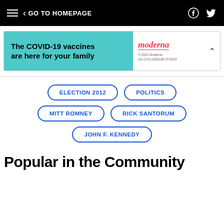GO TO HOMEPAGE
[Figure (screenshot): Moderna COVID-19 vaccine advertisement banner: teal section with text 'The COVID-19 vaccines are here for your family', white section with Moderna logo and fine print '© 2022 Moderna US-COV-2200180 07/2022']
ELECTION 2012
POLITICS
MITT ROMNEY
RICK SANTORUM
JOHN F. KENNEDY
Popular in the Community